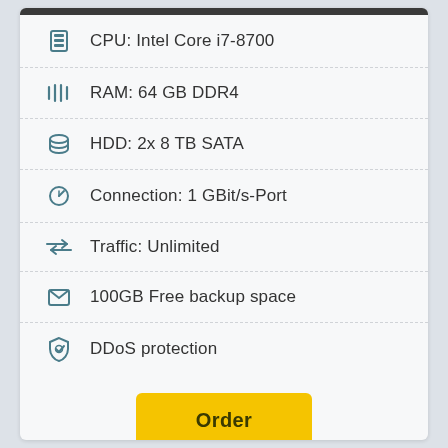CPU: Intel Core i7-8700
RAM: 64 GB DDR4
HDD: 2x 8 TB SATA
Connection: 1 GBit/s-Port
Traffic: Unlimited
100GB Free backup space
DDoS protection
Order